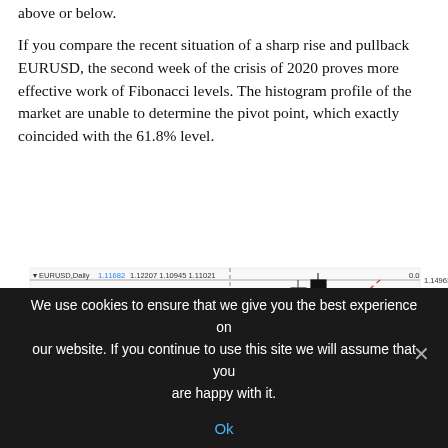above or below.
If you compare the recent situation of a sharp rise and pullback EURUSD, the second week of the crisis of 2020 proves more effective work of Fibonacci levels. The histogram profile of the market are unable to determine the pivot point, which exactly coincided with the 61.8% level.
[Figure (continuous-plot): EURUSD Daily candlestick chart showing 1.11682 1.12207 1.10945 1.11021. Chart displays multiple Japanese candlesticks with Fibonacci levels marked, including a diagonal dashed red line. Price levels visible on right axis ranging approximately 1.095 to 1.145. A vertical dashed line divides the chart. Fibonacci level at 61.8 highlighted.]
We use cookies to ensure that we give you the best experience on our website. If you continue to use this site we will assume that you are happy with it.
Ok